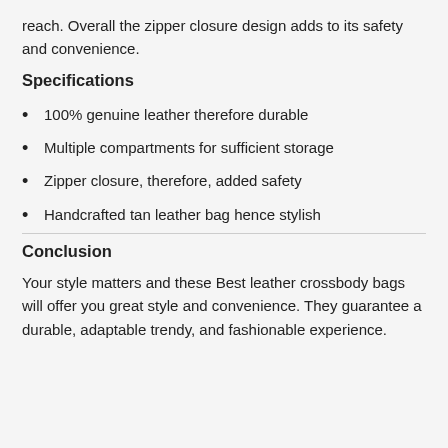reach. Overall the zipper closure design adds to its safety and convenience.
Specifications
100% genuine leather therefore durable
Multiple compartments for sufficient storage
Zipper closure, therefore, added safety
Handcrafted tan leather bag hence stylish
Conclusion
Your style matters and these Best leather crossbody bags will offer you great style and convenience. They guarantee a durable, adaptable trendy, and fashionable experience.